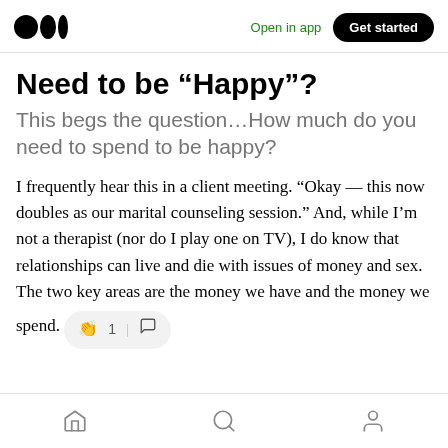Open in app | Get started
Need to be “Happy”?
This begs the question…How much do you need to spend to be happy?
I frequently hear this in a client meeting. “Okay — this now doubles as our marital counseling session.” And, while I’m not a therapist (nor do I play one on TV), I do know that relationships can live and die with issues of money and sex. The two key areas are the money we have and the money we spend.
Home | Search | Profile